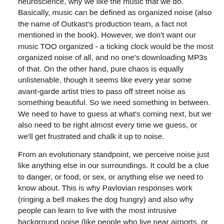neuroscience, why we like the music that we do. Basically, music can be defined as organized noise (also the name of Outkast's production team, a fact not mentioned in the book). However, we don't want our music TOO organized - a ticking clock would be the most organized noise of all, and no one's downloading MP3s of that. On the other hand, pure chaos is equally unlistenable, though it seems like every year some avant-garde artist tries to pass off street noise as something beautiful. So we need something in between. We need to have to guess at what's coming next, but we also need to be right almost every time we guess, or we'll get frustrated and chalk it up to noise.
From an evolutionary standpoint, we perceive noise just like anything else in our surroundings. It could be a clue to danger, or food, or sex, or anything else we need to know about. This is why Pavlovian responses work (ringing a bell makes the dog hungry) and also why people can learn to live with the most intrusive background noise (like people who live near airports, or merely those who work near the copier). Simple pop music buzzes like that because it mimics those...